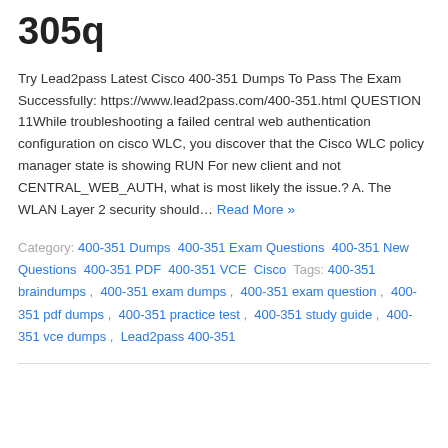305q
Try Lead2pass Latest Cisco 400-351 Dumps To Pass The Exam Successfully: https://www.lead2pass.com/400-351.html QUESTION 11While troubleshooting a failed central web authentication configuration on cisco WLC, you discover that the Cisco WLC policy manager state is showing RUN For new client and not CENTRAL_WEB_AUTH, what is most likely the issue.? A. The WLAN Layer 2 security should… Read More »
Category: 400-351 Dumps 400-351 Exam Questions 400-351 New Questions 400-351 PDF 400-351 VCE Cisco Tags: 400-351 braindumps , 400-351 exam dumps , 400-351 exam question , 400-351 pdf dumps , 400-351 practice test , 400-351 study guide , 400-351 vce dumps , Lead2pass 400-351